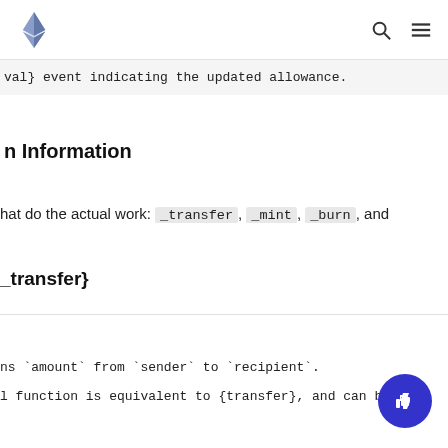Ethereum documentation — navigation bar with logo, search, and menu icons
val} event indicating the updated allowance.
n Information
hat do the actual work: _transfer, _mint, _burn, and
_transfer}
ns `amount` from `sender` to `recipient`.
l function is equivalent to {transfer}, and can be used